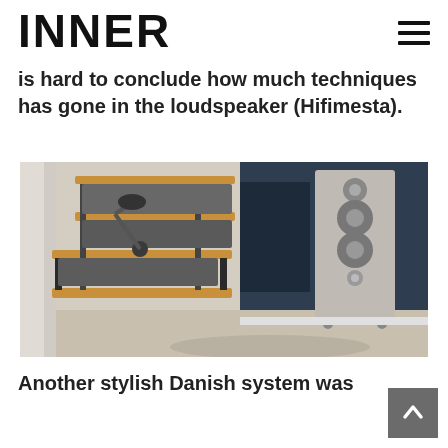INNER
is hard to conclude how much techniques has gone in the loudspeaker (Hifimesta).
[Figure (photo): Photo of a hi-fi audio system setup in a room: a wooden multi-shelf audio rack with grey components on the left, a desk lamp on the rack, and a tall silver floor-standing loudspeaker on the right against a dark blue wall.]
Another stylish Danish system was